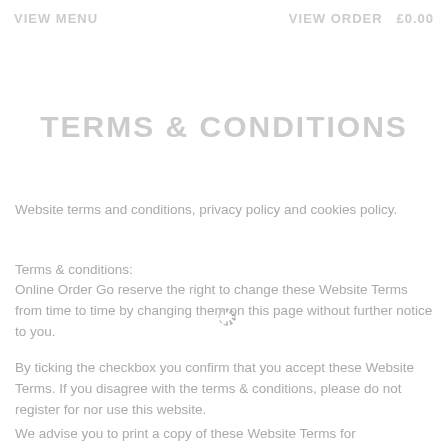VIEW MENU   VIEW ORDER  £0.00
TERMS & CONDITIONS
Website terms and conditions, privacy policy and cookies policy.
Terms & conditions:
Online Order Go reserve the right to change these Website Terms from time to time by changing them on this page without further notice to you.
By ticking the checkbox you confirm that you accept these Website Terms. If you disagree with the terms & conditions, please do not register for nor use this website.
We advise you to print a copy of these Website Terms for future reference. The Website Terms...